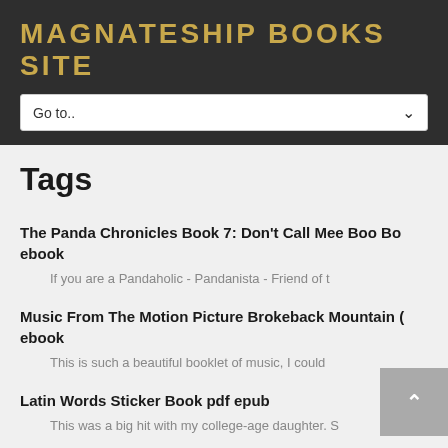MAGNATESHIP BOOKS SITE
Go to..
Tags
The Panda Chronicles Book 7: Don't Call Mee Boo Bo ebook
If you are a Pandaholic - Pandanista - Friend of t
Music From The Motion Picture Brokeback Mountain ( ebook
This is such a beautiful booklet of music, I could
Latin Words Sticker Book pdf epub
This was a big hit with my college-age daughter. S